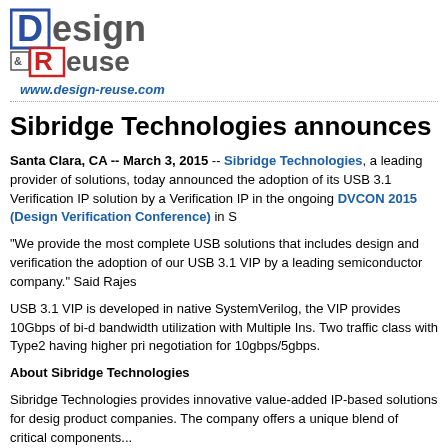[Figure (logo): Design & Reuse logo with stylized D and R letters in blue and red squares]
www.design-reuse.com
Sibridge Technologies announces cust
Santa Clara, CA -- March 3, 2015 -- Sibridge Technologies, a leading provider of solutions, today announced the adoption of its USB 3.1 Verification IP solution by a Verification IP in the ongoing DVCON 2015 (Design Verification Conference) in S
"We provide the most complete USB solutions that includes design and verification the adoption of our USB 3.1 VIP by a leading semiconductor company." Said Rajes
USB 3.1 VIP is developed in native SystemVerilog, the VIP provides 10Gbps of bi-d bandwidth utilization with Multiple Ins. Two traffic class with Type2 having higher pri negotiation for 10gbps/5gbps.
About Sibridge Technologies
Sibridge Technologies provides innovative value-added IP-based solutions for desig product companies. The company offers a unique blend of critical components...